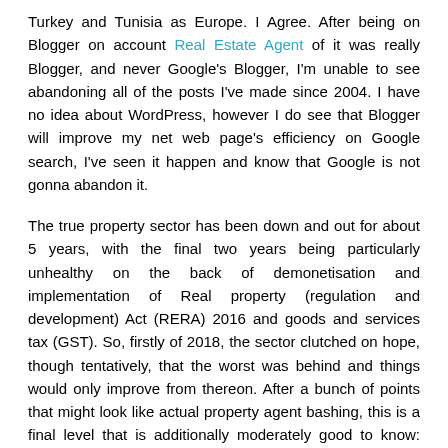Turkey and Tunisia as Europe. I Agree. After being on Blogger on account Real Estate Agent of it was really Blogger, and never Google's Blogger, I'm unable to see abandoning all of the posts I've made since 2004. I have no idea about WordPress, however I do see that Blogger will improve my net web page's efficiency on Google search, I've seen it happen and know that Google is not gonna abandon it.
The true property sector has been down and out for about 5 years, with the final two years being particularly unhealthy on the back of demonetisation and implementation of Real property (regulation and development) Act (RERA) 2016 and goods and services tax (GST). So, firstly of 2018, the sector clutched on hope, though tentatively, that the worst was behind and things would only improve from thereon. After a bunch of points that might look like actual property agent bashing, this is a final level that is additionally moderately good to know: Yes, while agents typically accumulate large fees for what can seem to be little work, they typically do appreciable work to earn their commissions. Keep in mind that they might take some purchasers to see dozens of houses earlier than one is purchased.
Diversify, if appropriate – a good marketing consultant will all the ...